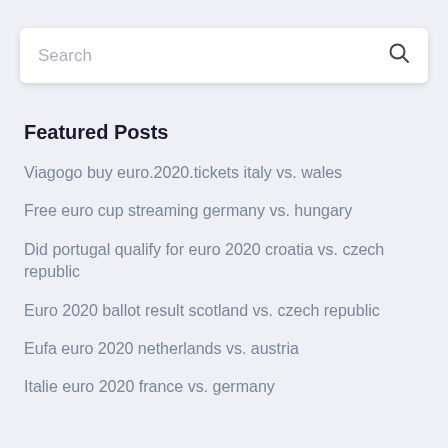Search
Featured Posts
Viagogo buy euro.2020.tickets italy vs. wales
Free euro cup streaming germany vs. hungary
Did portugal qualify for euro 2020 croatia vs. czech republic
Euro 2020 ballot result scotland vs. czech republic
Eufa euro 2020 netherlands vs. austria
Italie euro 2020 france vs. germany